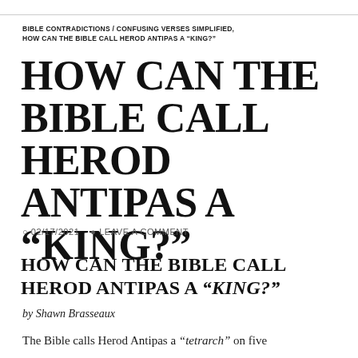BIBLE CONTRADICTIONS / CONFUSING VERSES SIMPLIFIED, HOW CAN THE BIBLE CALL HEROD ANTIPAS A “KING?”
HOW CAN THE BIBLE CALL HEROD ANTIPAS A “KING?”
ⓘ 02/17/2021   💬 LEAVE A COMMENT
HOW CAN THE BIBLE CALL HEROD ANTIPAS A “KING?”
by Shawn Brasseaux
The Bible calls Herod Antipas a “tetrarch” on five occasions